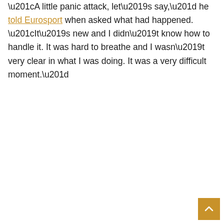“A little panic attack, let’s say,” he told Eurosport when asked what had happened. “It’s new and I didn’t know how to handle it. It was hard to breathe and I wasn’t very clear in what I was doing. It was a very difficult moment.”